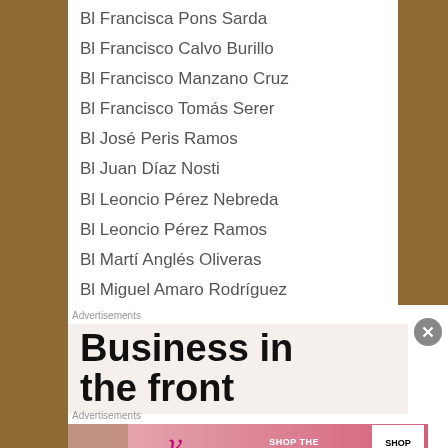Bl Francisca Pons Sarda
Bl Francisco Calvo Burillo
Bl Francisco Manzano Cruz
Bl Francisco Tomás Serer
Bl José Peris Ramos
Bl Juan Díaz Nosti
Bl Leoncio Pérez Nebreda
Bl Leoncio Pérez Ramos
Bl Martí Anglés Oliveras
Bl Miguel Amaro Rodríguez
Advertisements
[Figure (other): Advertisement banner reading 'Business in the front']
Advertisements
[Figure (other): Victoria's Secret advertisement: SHOP THE COLLECTION - SHOP NOW]